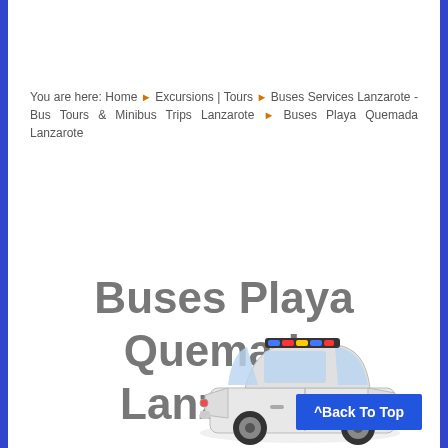You are here: Home ▶ Excursions | Tours ▶ Buses Services Lanzarote - Bus Tours & Minibus Trips Lanzarote ▶ Buses Playa Quemada Lanzarote
Buses Playa Quemada Lanzarote
[Figure (illustration): Illustration of a white car (Dacia Logan style) with colorful roof lights/stickers, viewed from a front-side angle]
^Back To Top